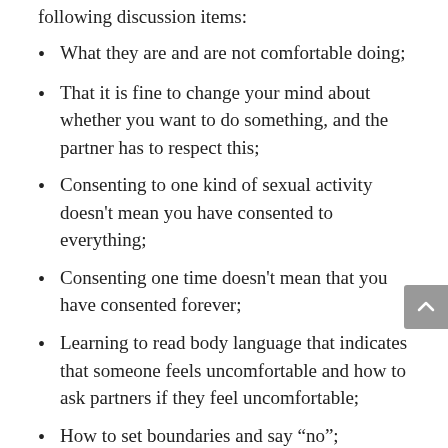following discussion items:
What they are and are not comfortable doing;
That it is fine to change your mind about whether you want to do something, and the partner has to respect this;
Consenting to one kind of sexual activity doesn't mean you have consented to everything;
Consenting one time doesn't mean that you have consented forever;
Learning to read body language that indicates that someone feels uncomfortable and how to ask partners if they feel uncomfortable;
How to set boundaries and say “no”;
Clarify within themselves about what they